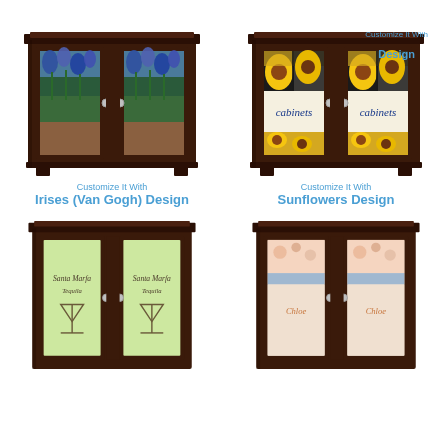[Figure (photo): Partial cabinet product image at top right with 'Design' label]
[Figure (photo): Cabinet with Irises (Van Gogh) Design]
Customize It With
Irises (Van Gogh) Design
[Figure (photo): Cabinet with Sunflowers Design]
Customize It With
Sunflowers Design
[Figure (photo): Cabinet with margarita/cocktail design (partially visible)]
[Figure (photo): Cabinet with pastel/baby design (partially visible)]